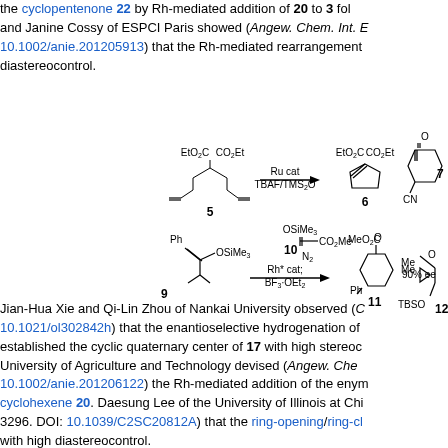the cyclopentenone 22 by Rh-mediated addition of 20 to 3 fol... and Janine Cossy of ESPCI Paris showed (Angew. Chem. Int. E... 10.1002/anie.201205913) that the Rh-mediated rearrangement... diastereocontrol.
[Figure (chemistry-diagram): Chemical reaction schemes showing compounds 5, 6, 7, 9, 10, 11, 12 with reaction conditions including Ru cat, TBAF/TMS2O, Rh* cat, BF3·OEt2, OSiMe3, CO2Me groups, 90% ee label, and TBSO group.]
Jian-Hua Xie and Qi-Lin Zhou of Nankai University observed (C... 10.1021/ol302842h) that the enantioselective hydrogenation of... established the cyclic quaternary center of 17 with high stereoc... University of Agriculture and Technology devised (Angew. Che... 10.1002/anie.201206122) the Rh-mediated addition of the enym... cyclohexene 20. Daesung Lee of the University of Illinois at Chi... 3296. DOI: 10.1039/C2SC20812A) that the ring-opening/ring-cl... with high diastereocontrol.